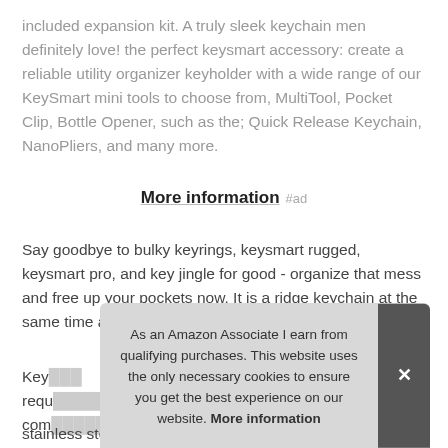included expansion kit. A truly sleek keychain men definitely love! the perfect keysmart accessory: create a reliable utility organizer keyholder with a wide range of our KeySmart mini tools to choose from, MultiTool, Pocket Clip, Bottle Opener, such as the; Quick Release Keychain, NanoPliers, and many more.
More information #ad
Say goodbye to bulky keyrings, keysmart rugged, keysmart pro, and key jingle for good - organize that mess and free up your pockets now. It is a ridge keychain at the same time a perfect key holder for men.
KeySmart... stainless steel hardware - the patented S-shaped design
As an Amazon Associate I earn from qualifying purchases. This website uses the only necessary cookies to ensure you get the best experience on our website. More information